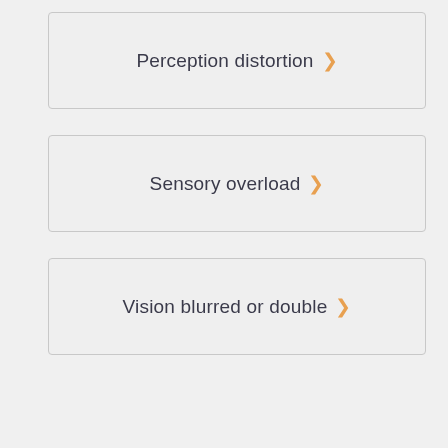Perception distortion >
Sensory overload >
Vision blurred or double >